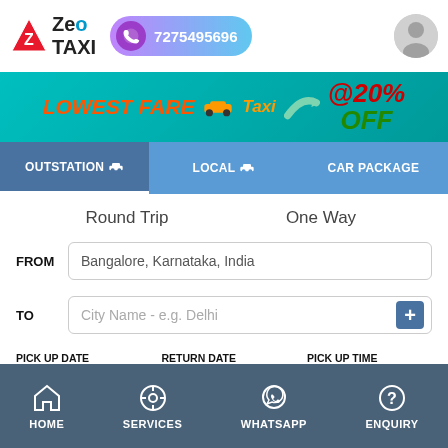[Figure (logo): ZeoTaxi logo with red triangle and taxi icon, phone number pill 7275495696, and user avatar]
[Figure (infographic): Promotional banner: LOWEST FARE TAXI with arrow and @20% OFF]
OUTSTATION | LOCAL | CAR PACKAGE (tab navigation)
Round Trip
One Way
FROM
Bangalore, Karnataka, India
TO
City Name - e.g. Delhi
PICK UP DATE
RETURN DATE
PICK UP TIME
2022/08/31
2022/08/31
09:00 AM
HOME | SERVICES | WHATSAPP | ENQUIRY